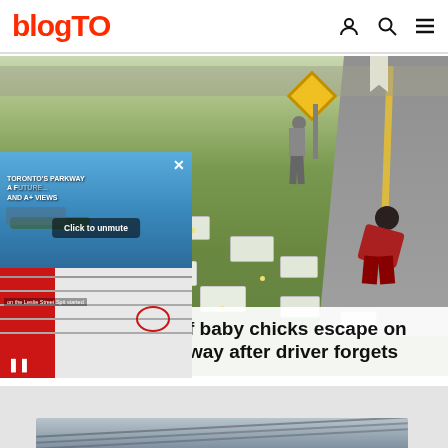blogTO
[Figure (photo): People collecting scattered baby chicks in white crates along a roadside with green grass, with a yellow warning sign and road visible in the background.]
[Figure (screenshot): Video popup overlay showing 'Toronto's Parkway, A Future... and A+ Views' with a 'Click to unmute' button, and a video frame showing the Leslie Street Spit with a red and white boat.]
f baby chicks escape on way after driver forgets